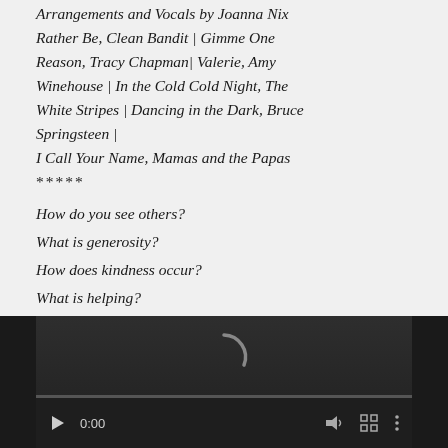Arrangements and Vocals by Joanna Nix Rather Be, Clean Bandit | Gimme One Reason, Tracy Chapman| Valerie, Amy Winehouse | In the Cold Cold Night, The White Stripes | Dancing in the Dark, Bruce Springsteen | I Call Your Name, Mamas and the Papas ***** How do you see others? What is generosity? How does kindness occur? What is helping? “I remember remembering you.”
[Figure (screenshot): A dark video player with a loading spinner arc in the center. Controls bar at the bottom showing a play button, 0:00 timestamp, volume icon, fullscreen icon, and options menu dots.]